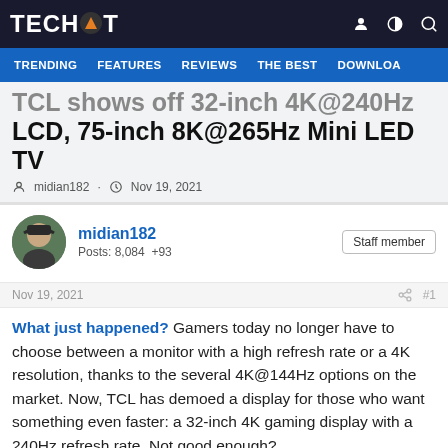TECHSPOT
TRENDING  FEATURES  REVIEWS  THE BEST  DOWNLOA
TCL shows off 32-inch 4K@240Hz LCD, 75-inch 8K@265Hz Mini LED TV
midian182 · Nov 19, 2021
midian182
Posts: 8,084  +93
Staff member
Nov 19, 2021  #1
What just happened? Gamers today no longer have to choose between a monitor with a high refresh rate or a 4K resolution, thanks to the several 4K@144Hz options on the market. Now, TCL has demoed a display for those who want something even faster: a 32-inch 4K gaming display with a 240Hz refresh rate. Not good enough?